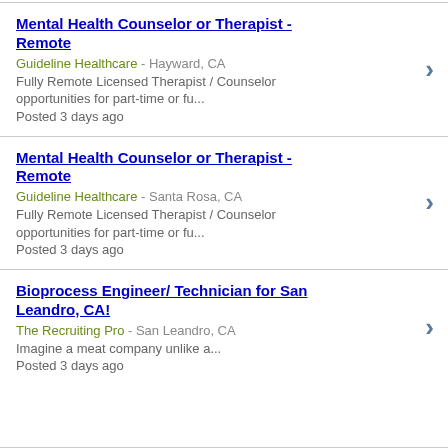Mental Health Counselor or Therapist - Remote
Guideline Healthcare - Hayward, CA
Fully Remote Licensed Therapist / Counselor opportunities for part-time or fu...
Posted 3 days ago
Mental Health Counselor or Therapist - Remote
Guideline Healthcare - Santa Rosa, CA
Fully Remote Licensed Therapist / Counselor opportunities for part-time or fu...
Posted 3 days ago
Bioprocess Engineer/ Technician for San Leandro, CA!
The Recruiting Pro - San Leandro, CA
Imagine a meat company unlike a...
Posted 3 days ago